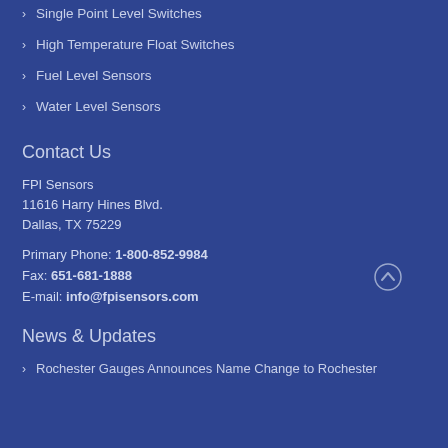Single Point Level Switches
High Temperature Float Switches
Fuel Level Sensors
Water Level Sensors
Contact Us
FPI Sensors
11616 Harry Hines Blvd.
Dallas, TX 75229
Primary Phone: 1-800-852-9984
Fax: 651-681-1888
E-mail: info@fpisensors.com
News & Updates
Rochester Gauges Announces Name Change to Rochester